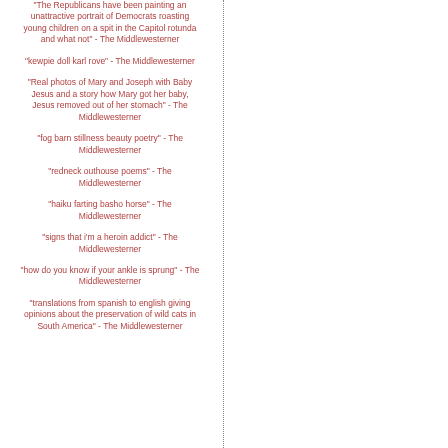"The Republicans have been painting an unattractive portrait of Democrats roasting young children on a spit in the Capitol rotunda and what not" - The Middlewesterner
"kewpie doll karl rove" - The Middlewesterner
"Real photos of Mary and Joseph with Baby Jesus and a story how Mary got her baby, Jesus removed out of her stomach" - The Middlewesterner
"fog barn stillness beauty poetry" - The Middlewesterner
"redneck outhouse poems" - The Middlewesterner
"haiku farting basho horse" - The Middlewesterner
"signs that i'm a heroin addict" - The Middlewesterner
"how do you know if your ankle is sprung" - The Middlewesterner
"translations from spanish to english giving opinions about the preservation of wild cats in South America" - The Middlewesterner